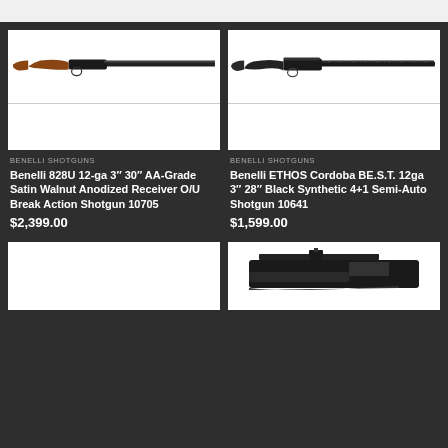[Figure (photo): Benelli 828U shotgun with walnut stock, side profile view]
BENELLI SHOTGUNS
Benelli 828U 12-ga 3″ 30″ AA-Grade Satin Walnut Anodized Receiver O/U Break Action Shotgun 10705
$2,399.00
[Figure (photo): Benelli ETHOS Cordoba shotgun with black synthetic stock, side profile view]
BENELLI SHOTGUNS
Benelli ETHOS Cordoba BE.S.T. 12ga 3″ 28″ Black Synthetic 4+1 Semi-Auto Shotgun 10641
$1,599.00
[Figure (photo): Partial view of another shotgun product card (bottom left, mostly white)]
[Figure (photo): Partial view of another shotgun with black finish, top/receiver visible (bottom right)]